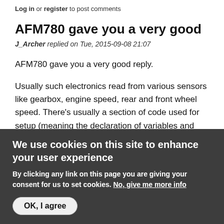Log in or register to post comments
AFM780 gave you a very good
J_Archer replied on Tue, 2015-09-08 21:07
AFM780 gave you a very good reply.
Usually such electronics read from various sensors like gearbox, engine speed, rear and front wheel speed. There's usually a section of code used for setup (meaning the declaration of variables and such) and a loop section which constantly monitors sensor inputs. I have a feeling AFM780 might have some
We use cookies on this site to enhance your user experience
By clicking any link on this page you are giving your consent for us to set cookies. No, give me more info
OK, I agree